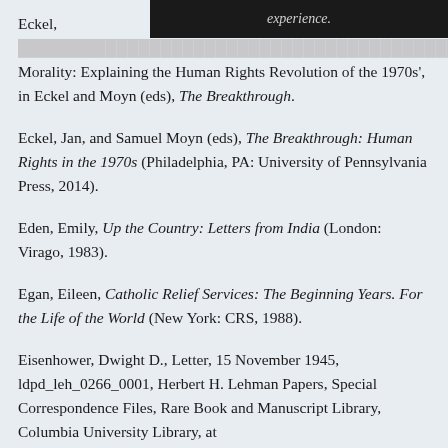[Figure (other): Black bar partially obscuring top of page text, with italic text 'experience.' visible]
Eckel, [obscured] of Morality: Explaining the Human Rights Revolution of the 1970s', in Eckel and Moyn (eds), The Breakthrough.
Eckel, Jan, and Samuel Moyn (eds), The Breakthrough: Human Rights in the 1970s (Philadelphia, PA: University of Pennsylvania Press, 2014).
Eden, Emily, Up the Country: Letters from India (London: Virago, 1983).
Egan, Eileen, Catholic Relief Services: The Beginning Years. For the Life of the World (New York: CRS, 1988).
Eisenhower, Dwight D., Letter, 15 November 1945, ldpd_leh_0266_0001, Herbert H. Lehman Papers, Special Correspondence Files, Rare Book and Manuscript Library, Columbia University Library, at http://lehman.cul.columbia.edu/ldpd_leh_0266_0001